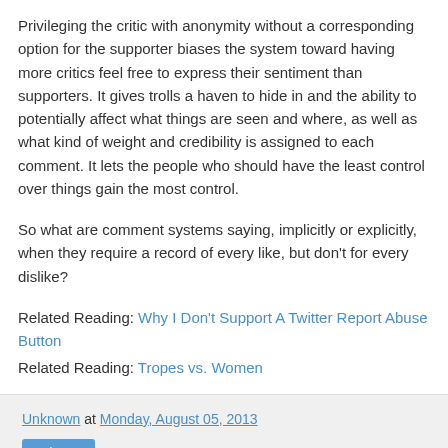Privileging the critic with anonymity without a corresponding option for the supporter biases the system toward having more critics feel free to express their sentiment than supporters. It gives trolls a haven to hide in and the ability to potentially affect what things are seen and where, as well as what kind of weight and credibility is assigned to each comment. It lets the people who should have the least control over things gain the most control.
So what are comment systems saying, implicitly or explicitly, when they require a record of every like, but don't for every dislike?
Related Reading: Why I Don't Support A Twitter Report Abuse Button
Related Reading: Tropes vs. Women
Unknown at Monday, August 05, 2013
Share